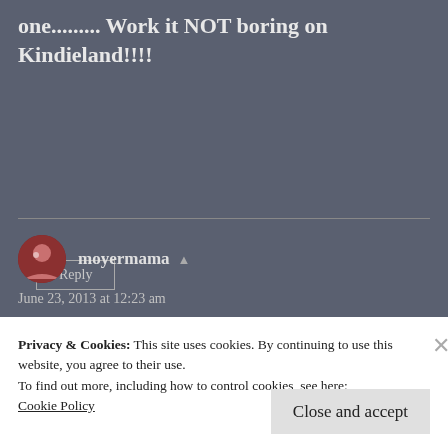one......... Work it NOT boring on Kindieland!!!!
Reply
moyermama
June 23, 2013 at 12:23 am
Always something, isn't there?
Privacy & Cookies: This site uses cookies. By continuing to use this website, you agree to their use.
To find out more, including how to control cookies, see here:
Cookie Policy
Close and accept